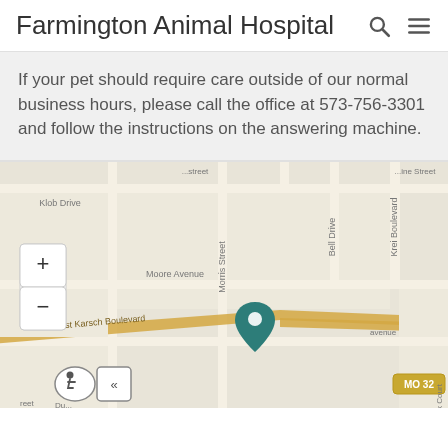Farmington Animal Hospital
If your pet should require care outside of our normal business hours, please call the office at 573-756-3301 and follow the instructions on the answering machine.
[Figure (map): Street map showing location of Farmington Animal Hospital near East Karsch Boulevard and MO 32, with streets including Klob Drive, Bell Drive, Krei Boulevard, Moore Avenue, Morris Street. A teal map pin marks the location. Map controls (zoom in/out) visible top left. Accessibility and collapse buttons visible bottom left. MO 32 route marker visible.]